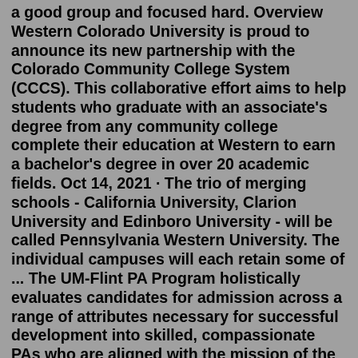a good group and focused hard. Overview Western Colorado University is proud to announce its new partnership with the Colorado Community College System (CCCS). This collaborative effort aims to help students who graduate with an associate's degree from any community college complete their education at Western to earn a bachelor's degree in over 20 academic fields. Oct 14, 2021 · The trio of merging schools - California University, Clarion University and Edinboro University - will be called Pennsylvania Western University. The individual campuses will each retain some of ... The UM-Flint PA Program holistically evaluates candidates for admission across a range of attributes necessary for successful development into skilled, compassionate PAs who are aligned with the mission of the PA program. The University of Michigan-Flint's Master of Science in Physician Assistant program requires applicants to submit the ... Dr. José Gomez-Lemus, Associate Professor, MD, FRCPC Program Director, MClSc-PA